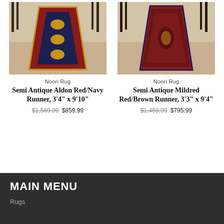[Figure (photo): Photo of Semi Antique Aldon Red/Navy Runner rug displayed in a room hallway]
Noori Rug
Semi Antique Aldon Red/Navy Runner, 3'4" x 9'10"
$1,589.99 $859.99
[Figure (photo): Photo of Semi Antique Mildred Red/Brown Runner rug displayed in a room hallway]
Noori Rug
Semi Antique Mildred Red/Brown Runner, 3'3" x 9'4"
$1,469.99 $795.99
MAIN MENU
Rugs